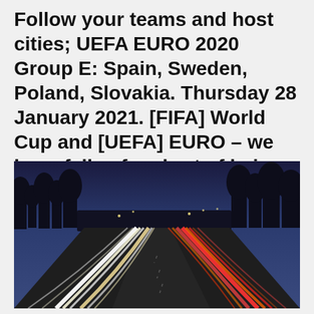Follow your teams and host cities; UEFA EURO 2020 Group E: Spain, Sweden, Poland, Slovakia. Thursday 28 January 2021. [FIFA] World Cup and [UEFA] EURO – we have fallen far short of being
[Figure (photo): Long-exposure night photograph of a highway with light trails from vehicles — white streaks on the left lanes and red streaks on the right lanes — with a dark tree silhouette skyline and deep blue dusk sky in the background.]